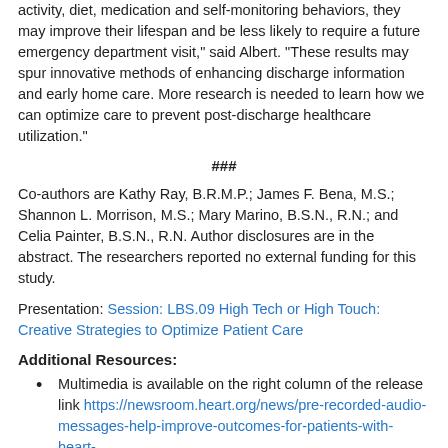activity, diet, medication and self-monitoring behaviors, they may improve their lifespan and be less likely to require a future emergency department visit," said Albert. "These results may spur innovative methods of enhancing discharge information and early home care. More research is needed to learn how we can optimize care to prevent post-discharge healthcare utilization."
###
Co-authors are Kathy Ray, B.R.M.P.; James F. Bena, M.S.; Shannon L. Morrison, M.S.; Mary Marino, B.S.N., R.N.; and Celia Painter, B.S.N., R.N. Author disclosures are in the abstract. The researchers reported no external funding for this study.
Presentation: Session: LBS.09 High Tech or High Touch: Creative Strategies to Optimize Patient Care
Additional Resources:
Multimedia is available on the right column of the release link https://newsroom.heart.org/news/pre-recorded-audio-messages-help-improve-outcomes-for-patients-with-heart-